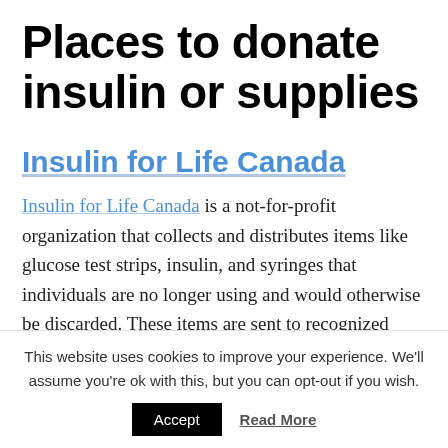Places to donate insulin or supplies
Insulin for Life Canada
Insulin for Life Canada is a not-for-profit organization that collects and distributes items like glucose test strips, insulin, and syringes that individuals are no longer using and would otherwise be discarded. These items are sent to recognized
This website uses cookies to improve your experience. We'll assume you're ok with this, but you can opt-out if you wish.
Accept | Read More